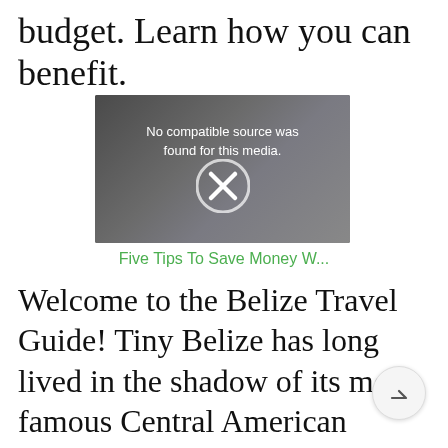budget. Learn how you can benefit.
[Figure (screenshot): Video player showing error message 'No compatible source was found for this media.' with an X icon on a dark background.]
Five Tips To Save Money W...
Welcome to the Belize Travel Guide! Tiny Belize has long lived in the shadow of its more famous Central American neighbors but is now widely being touted as one of the 'next big things' in glo travel. That was not likely come as much surprise to those who have already